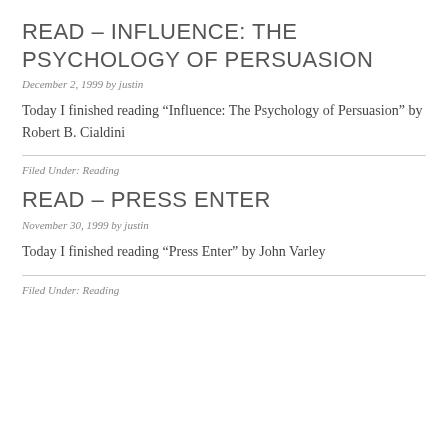READ – INFLUENCE: THE PSYCHOLOGY OF PERSUASION
December 2, 1999 by justin
Today I finished reading “Influence: The Psychology of Persuasion” by Robert B. Cialdini
Filed Under: Reading
READ – PRESS ENTER
November 30, 1999 by justin
Today I finished reading “Press Enter” by John Varley
Filed Under: Reading